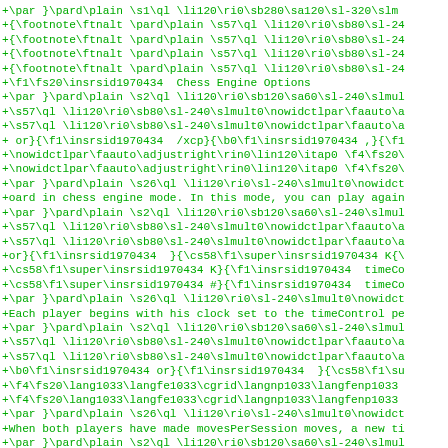Source code / diff view of an RTF document showing Chess Engine Options content. Lines prefixed with '+' in green monospace font showing RTF markup and text content.